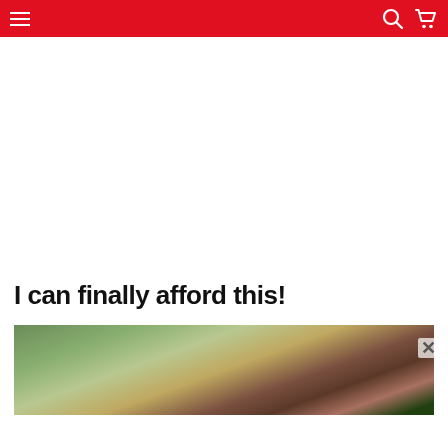Navigation bar with menu, search and cart icons
I can finally afford this!
[Figure (photo): Outdoor street scene with trees, houses and road visible, partially cropped with a close/dismiss button in the lower right corner]